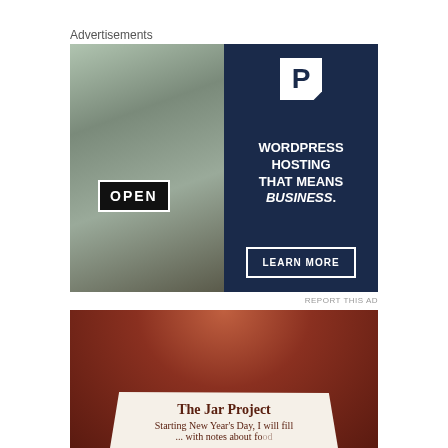Advertisements
[Figure (photo): Advertisement banner: Left half shows a woman holding an OPEN sign in a shop window. Right half is dark navy blue with a white P logo, text 'WORDPRESS HOSTING THAT MEANS BUSINESS.' and a 'LEARN MORE' button.]
REPORT THIS AD
[Figure (photo): Photo of a jar with a torn paper label reading 'The Jar Project — Starting New Year's Day, I will fill ... with notes about [food?]', with a food/jam background.]